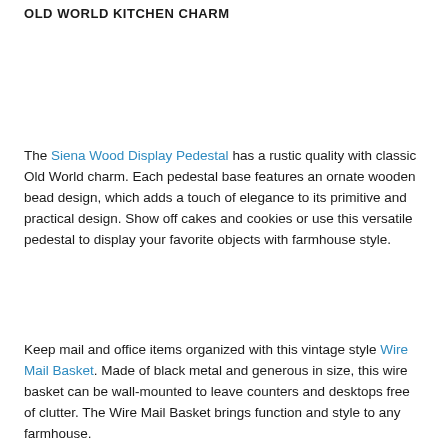OLD WORLD KITCHEN CHARM
The Siena Wood Display Pedestal has a rustic quality with classic Old World charm. Each pedestal base features an ornate wooden bead design, which adds a touch of elegance to its primitive and practical design. Show off cakes and cookies or use this versatile pedestal to display your favorite objects with farmhouse style.
Keep mail and office items organized with this vintage style Wire Mail Basket. Made of black metal and generous in size, this wire basket can be wall-mounted to leave counters and desktops free of clutter. The Wire Mail Basket brings function and style to any farmhouse.